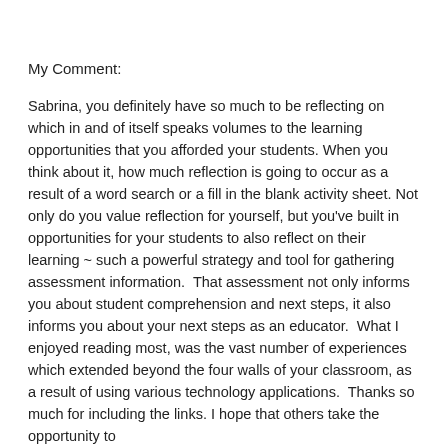My Comment:
Sabrina, you definitely have so much to be reflecting on which in and of itself speaks volumes to the learning opportunities that you afforded your students. When you think about it, how much reflection is going to occur as a result of a word search or a fill in the blank activity sheet. Not only do you value reflection for yourself, but you've built in opportunities for your students to also reflect on their learning ~ such a powerful strategy and tool for gathering assessment information.  That assessment not only informs you about student comprehension and next steps, it also informs you about your next steps as an educator.  What I enjoyed reading most, was the vast number of experiences which extended beyond the four walls of your classroom, as a result of using various technology applications.  Thanks so much for including the links. I hope that others take the opportunity to